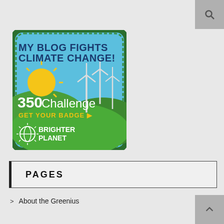[Figure (illustration): A badge/patch showing 'MY BLOG FIGHTS CLIMATE CHANGE!' text at the top in dark blue, a scenic illustration of green hills with wind turbines and a sun, bold white text '350 Challenge', yellow text 'GET YOUR BADGE ▶', and a Brighter Planet logo with globe icon at the bottom. The badge has a dark green stitched border on a rounded square shape.]
PAGES
> About the Greenius